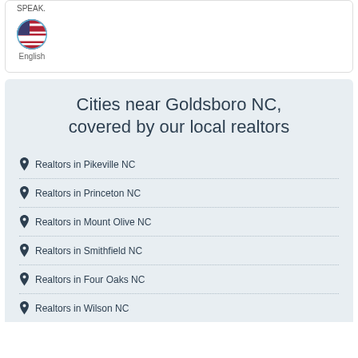SPEAK.
[Figure (illustration): US flag circle icon with teal border]
English
Cities near Goldsboro NC, covered by our local realtors
Realtors in Pikeville NC
Realtors in Princeton NC
Realtors in Mount Olive NC
Realtors in Smithfield NC
Realtors in Four Oaks NC
Realtors in Wilson NC